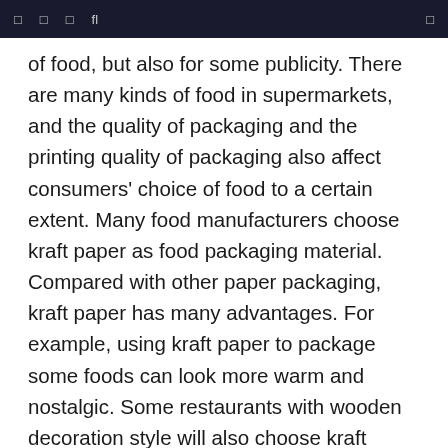□ □ □ fl □
of food, but also for some publicity. There are many kinds of food in supermarkets, and the quality of packaging and the printing quality of packaging also affect consumers' choice of food to a certain extent. Many food manufacturers choose kraft paper as food packaging material. Compared with other paper packaging, kraft paper has many advantages. For example, using kraft paper to package some foods can look more warm and nostalgic. Some restaurants with wooden decoration style will also choose kraft paper to package the food in the choice of food packaging materials, so that consumers can feel the atmosphere and style of the restaurant even if they are not in the restaurant. Due to the characteristics of kraft paper itself and its good tensile properties, it is widely used in the process of food packaging. Food packaging requires easy